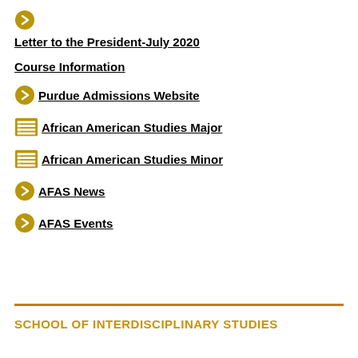Letter to the President-July 2020
Course Information
Purdue Admissions Website
African American Studies Major
African American Studies Minor
AFAS News
AFAS Events
SCHOOL OF INTERDISCIPLINARY STUDIES